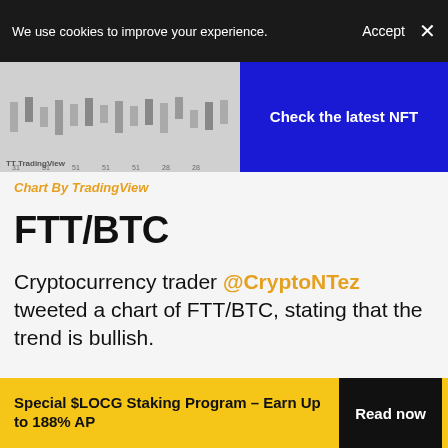We use cookies to improve your experience.
[Figure (screenshot): Partial screenshot of a TradingView chart with time axis labels]
[Figure (infographic): Blue banner with text: Check the latest NFT]
Chart By TradingView
FTT/BTC
Cryptocurrency trader @CryptoNTez tweeted a chart of FTT/BTC, stating that the trend is bullish.
Sponsored
Special $LOCG Staking Program – Earn Up to 188% AP